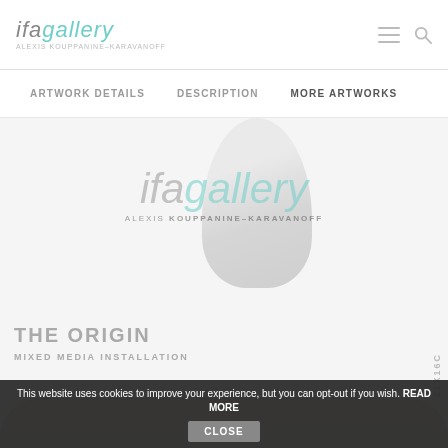[Figure (logo): IFA Gallery logo with italic 'ifa' in grey and 'gallery' in light grey, subtitle text below]
ARTWORK DETAILS   DESCRIPTION   MORE ARTWORKS
[Figure (photo): Gallery artwork page showing a white/grey sculptural form at top center with IFA Gallery watermark overlay, title 'THE ORIGIN' and medium 'MIXED MEDIA INSTALLATION' in grey text at bottom left. Side label '21X16C' in vertical text on right.]
[Figure (photo): Bottom portion of a beige/cream curved artwork or surface, partially visible]
This website uses cookies to improve your experience, but you can opt-out if you wish. READ MORE   CLOSE